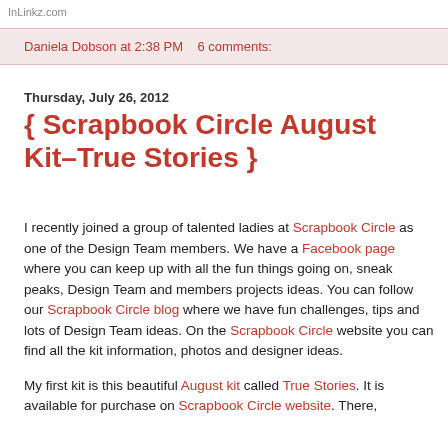InLinkz.com
Daniela Dobson at 2:38 PM   6 comments:
Thursday, July 26, 2012
{ Scrapbook Circle August Kit–True Stories }
I recently joined a group of talented ladies at Scrapbook Circle as one of the Design Team members. We have a Facebook page where you can keep up with all the fun things going on, sneak peaks, Design Team and members projects ideas. You can follow our Scrapbook Circle blog where we have fun challenges, tips and lots of Design Team ideas. On the Scrapbook Circle website you can find all the kit information, photos and designer ideas.
My first kit is this beautiful August kit called True Stories. It is available for purchase on Scrapbook Circle website. There, you can find detailed lists of what is included in the kit.